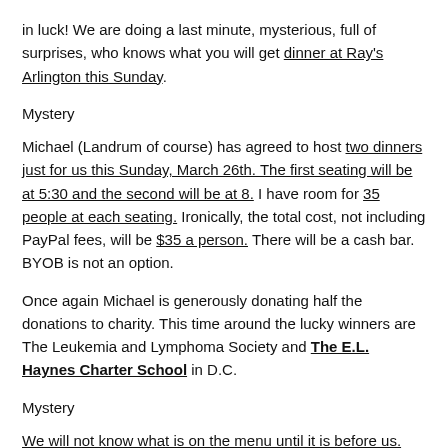in luck! We are doing a last minute, mysterious, full of surprises, who knows what you will get dinner at Ray's Arlington this Sunday.
Mystery
Michael (Landrum of course) has agreed to host two dinners just for us this Sunday, March 26th. The first seating will be at 5:30 and the second will be at 8. I have room for 35 people at each seating. Ironically, the total cost, not including PayPal fees, will be $35 a person. There will be a cash bar. BYOB is not an option.
Once again Michael is generously donating half the donations to charity. This time around the lucky winners are The Leukemia and Lymphoma Society and The E.L. Haynes Charter School in D.C.
Mystery
We will not know what is on the menu until it is before us. The kitchen will only be able to handle minimal food allergy requests. There will be a seafood option but vegetarians should sit this one out.
Due to the short turn around for this event we will be doing